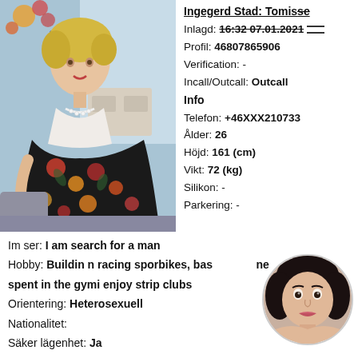[Figure (photo): Photo of a blonde woman in a floral dress seated indoors]
Inlagd: 16:32 07.01.2021
Profil: 46807865906
Verification: -
Incall/Outcall: Outcall
Info
Telefon: +46XXX210733
Ålder: 26
Höjd: 161 (cm)
Vikt: 72 (kg)
Silikon: -
Parkering: -
Im ser: I am search for a man
Hobby: Buildin n racing sporbikes, bash time spent in the gymi enjoy strip clubs
Orientering: Heterosexuell
Nationalitet:
Säker lägenhet: Ja
[Figure (photo): Circular thumbnail photo of a dark-haired woman]